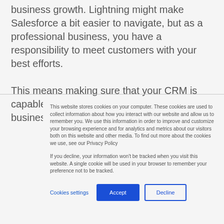business growth. Lightning might make Salesforce a bit easier to navigate, but as a professional business, you have a responsibility to meet customers with your best efforts.

This means making sure that your CRM is capable of handling the needs of your business and
This website stores cookies on your computer. These cookies are used to collect information about how you interact with our website and allow us to remember you. We use this information in order to improve and customize your browsing experience and for analytics and metrics about our visitors both on this website and other media. To find out more about the cookies we use, see our Privacy Policy

If you decline, your information won't be tracked when you visit this website. A single cookie will be used in your browser to remember your preference not to be tracked.
Cookies settings
Accept
Decline